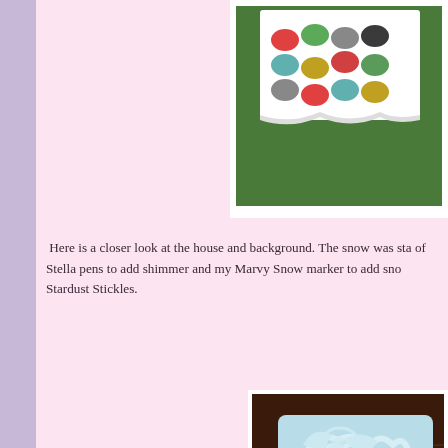[Figure (photo): Close-up photo of colorful patterned fabric with rounded shapes/elephants in various colors on white background, placed on green felt surface]
Here is a closer look at the house and background. The snow was sta of Stella pens to add shimmer and my Marvy Snow marker to add sno Stardust Stickles.
[Figure (photo): Close-up photo of a light blue embossed card with decorative swirls/flourishes against a dark brown wooden background, with sparkly snow texture details]